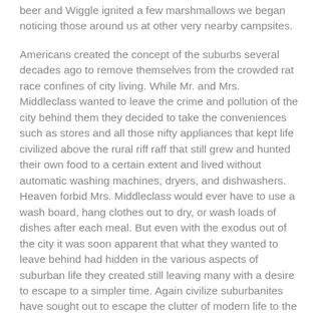beer and Wiggle ignited a few marshmallows we began noticing those around us at other very nearby campsites.
Americans created the concept of the suburbs several decades ago to remove themselves from the crowded rat race confines of city living. While Mr. and Mrs. Middleclass wanted to leave the crime and pollution of the city behind them they decided to take the conveniences such as stores and all those nifty appliances that kept life civilized above the rural riff raff that still grew and hunted their own food to a certain extent and lived without automatic washing machines, dryers, and dishwashers. Heaven forbid Mrs. Middleclass would ever have to use a wash board, hang clothes out to dry, or wash loads of dishes after each meal. But even with the exodus out of the city it was soon apparent that what they wanted to leave behind had hidden in the various aspects of suburban life they created still leaving many with a desire to escape to a simpler time. Again civilize suburbanites have sought out to escape the clutter of modern life to the camp grounds but find themselves still creating microcosms of the very thing they left behind.
Most should have some knowledge of non wilderness...